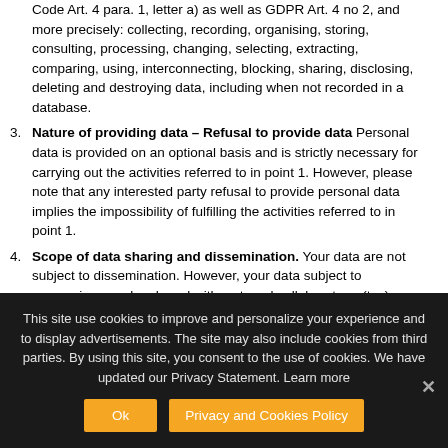Code Art. 4 para. 1, letter a) as well as GDPR Art. 4 no 2, and more precisely: collecting, recording, organising, storing, consulting, processing, changing, selecting, extracting, comparing, using, interconnecting, blocking, sharing, disclosing, deleting and destroying data, including when not recorded in a database.
Nature of providing data – Refusal to provide data Personal data is provided on an optional basis and is strictly necessary for carrying out the activities referred to in point 1. However, please note that any interested party refusal to provide personal data implies the impossibility of fulfilling the activities referred to in point 1.
Scope of data sharing and dissemination. Your data are not subject to dissemination. However, your data subject to processing may be shared with: external collaborators, (tax) consultants, accountants and in general all parties needed
This site use cookies to improve and personalize your experience and to display advertisements. The site may also include cookies from third parties. By using this site, you consent to the use of cookies. We have updated our Privacy Statement. Learn more